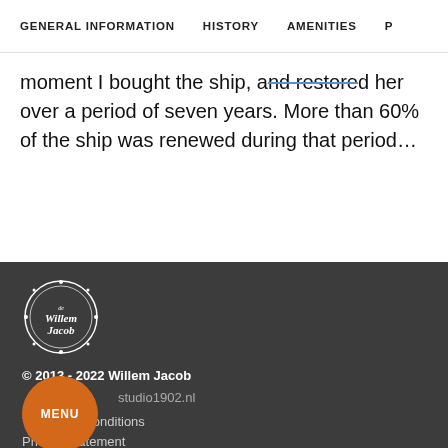GENERAL INFORMATION   HISTORY   AMENITIES   P
moment I bought the ship, and restored her over a period of seven years. More than 60% of the ship was renewed during that period...
[Figure (logo): Willem Jacob circular logo with decorative border and script text]
© 2013 - 2022 Willem Jacob
Powered by studio1902.nl
Terms and conditions
Privacy statement